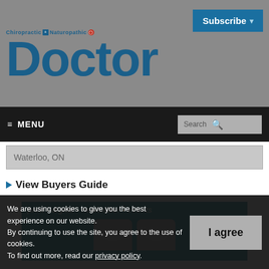Chiropractic + Naturopathic Doctor
Doctor
[Figure (screenshot): Subscribe button in teal/blue color with dropdown arrow]
[Figure (screenshot): Navigation menu bar with MENU text and Search box on dark background]
Waterloo, ON
▶ View Buyers Guide
[Figure (infographic): Teal advertisement banner: print • digital • newsletter • events with two shield/badge icons]
We are using cookies to give you the best experience on our website.
By continuing to use the site, you agree to the use of cookies.
To find out more, read our privacy policy.